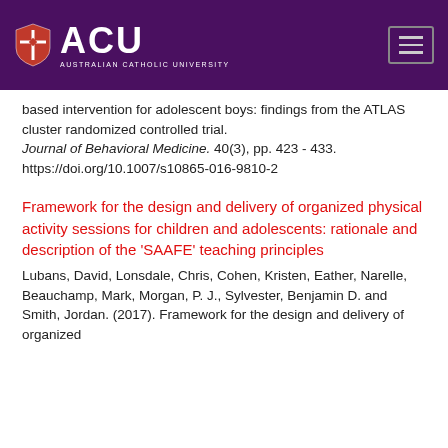[Figure (logo): Australian Catholic University (ACU) logo on dark purple header bar with hamburger menu icon]
based intervention for adolescent boys: findings from the ATLAS cluster randomized controlled trial. Journal of Behavioral Medicine. 40(3), pp. 423 - 433. https://doi.org/10.1007/s10865-016-9810-2
Framework for the design and delivery of organized physical activity sessions for children and adolescents: rationale and description of the 'SAAFE' teaching principles
Lubans, David, Lonsdale, Chris, Cohen, Kristen, Eather, Narelle, Beauchamp, Mark, Morgan, P. J., Sylvester, Benjamin D. and Smith, Jordan. (2017). Framework for the design and delivery of organized